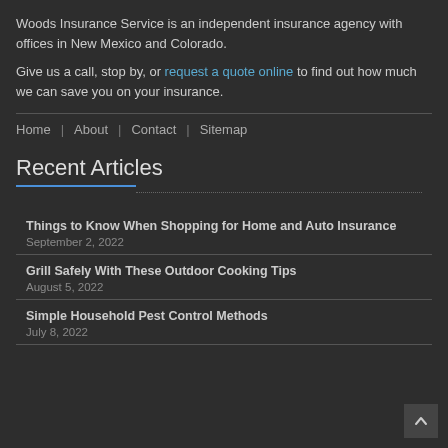Woods Insurance Service is an independent insurance agency with offices in New Mexico and Colorado.
Give us a call, stop by, or request a quote online to find out how much we can save you on your insurance.
Home | About | Contact | Sitemap
Recent Articles
Things to Know When Shopping for Home and Auto Insurance
September 2, 2022
Grill Safely With These Outdoor Cooking Tips
August 5, 2022
Simple Household Pest Control Methods
July 8, 2022